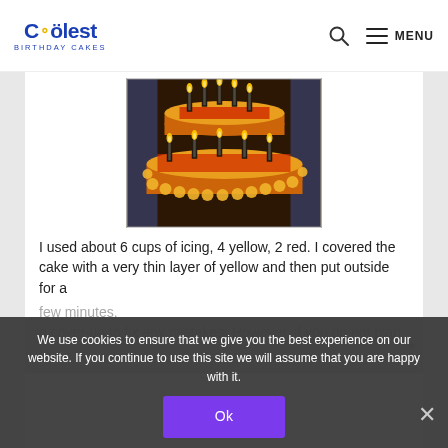Coolest Birthday Cakes — MENU
[Figure (photo): A tiered birthday cake decorated with yellow and red icing rosettes, lit candles on top, placed on a table with blue tablecloth background]
I used about 6 cups of icing, 4 yellow, 2 red. I covered the cake with a very thin layer of yellow and then put outside for a few minutes. I used a second cup-up to fix any mistakes! However, if you do not plan to
We use cookies to ensure that we give you the best experience on our website. If you continue to use this site we will assume that you are happy with it.
Ok